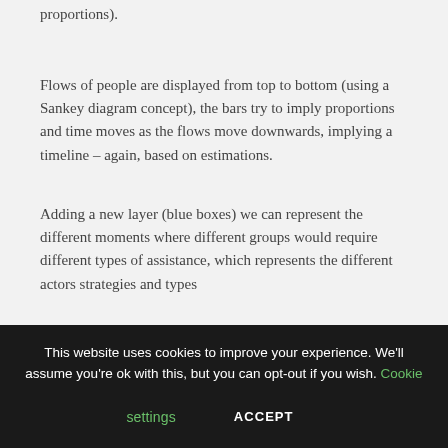proportions).
Flows of people are displayed from top to bottom (using a Sankey diagram concept), the bars try to imply proportions and time moves as the flows move downwards, implying a timeline – again, based on estimations.
Adding a new layer (blue boxes) we can represent the different moments where different groups would require different types of assistance, which represents the different actors strategies and types
This website uses cookies to improve your experience. We'll assume you're ok with this, but you can opt-out if you wish. Cookie settings ACCEPT